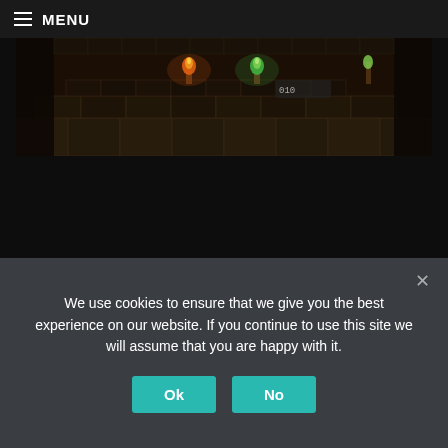≡ MENU
[Figure (screenshot): Dark game screenshot showing a top-down dungeon corridor with stone tiles, torches glowing orange and green, and a HUD element visible]
Mayapan
March 29, 2022
0 Comments
We use cookies to ensure that we give you the best experience on our website. If you continue to use this site we will assume that you are happy with it.